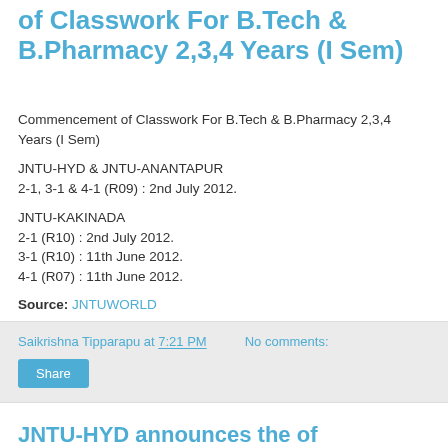of Classwork For B.Tech & B.Pharmacy 2,3,4 Years (I Sem)
Commencement of Classwork For B.Tech & B.Pharmacy 2,3,4 Years (I Sem)
JNTU-HYD & JNTU-ANANTAPUR
2-1, 3-1 & 4-1 (R09) : 2nd July 2012.
JNTU-KAKINADA
2-1 (R10) : 2nd July 2012.
3-1 (R10) : 11th June 2012.
4-1 (R07) : 11th June 2012.
Source: JNTUWORLD
Saikrishna Tipparapu at 7:21 PM    No comments:
Share
JNTU-HYD announces the of